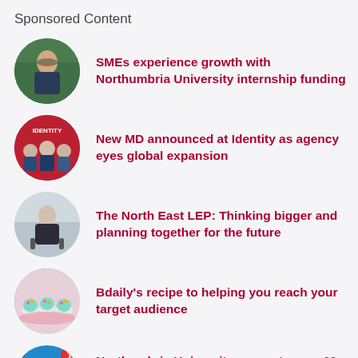Sponsored Content
SMEs experience growth with Northumbria University internship funding
New MD announced at Identity as agency eyes global expansion
The North East LEP: Thinking bigger and planning together for the future
Bdaily's recipe to helping you reach your target audience
Northumbria University supports over 60 SMEs in Tyne & Wear with funding for graduate internships.